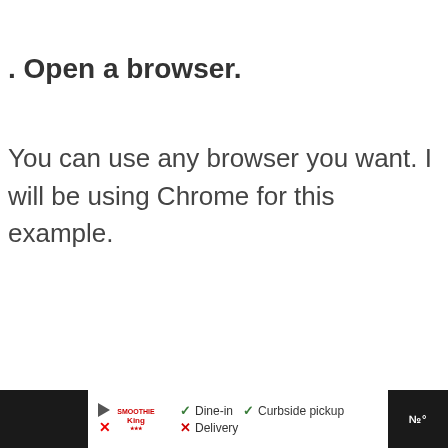. Open a browser.
You can use any browser you want. I will be using Chrome for this example.
[Figure (screenshot): Advertisement bar at bottom showing Smoothie King ad with Dine-in checkmark, Curbside pickup checkmark, Delivery with X mark, a blue navigation diamond icon, and a dark widget on the right]